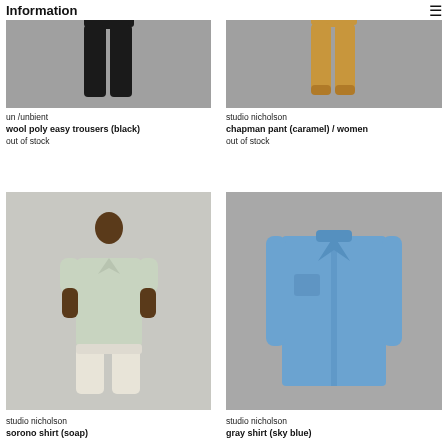Information
[Figure (photo): Black wool poly easy trousers on gray background]
[Figure (photo): Caramel chapman pant on gray background, womens]
un /unbient
wool poly easy trousers (black)
out of stock
studio nicholson
chapman pant (caramel) / women
out of stock
[Figure (photo): Man wearing sorono shirt in soap color on light gray background]
[Figure (photo): Gray shirt in sky blue on gray background]
studio nicholson
sorono shirt (soap)
studio nicholson
gray shirt (sky blue)